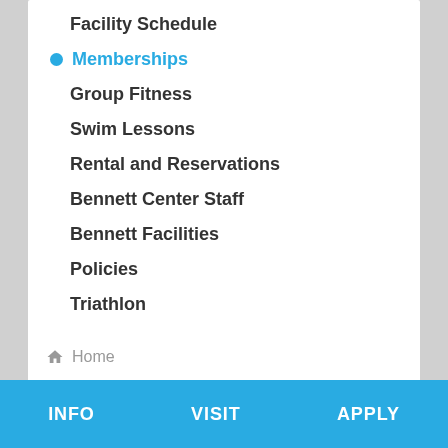Facility Schedule
Memberships
Group Fitness
Swim Lessons
Rental and Reservations
Bennett Center Staff
Bennett Facilities
Policies
Triathlon
Personal Training
Home
Connect with Gordon
INFO   VISIT   APPLY